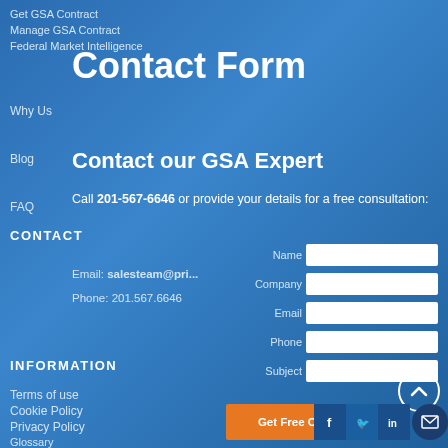Get GSA Contract
Manage GSA Contract
Federal Market Intelligence
Contact Form
Why Us
Contact our GSA Expert
Blog
Call 201-567-6646 or provide your details for a free consultation:
FAQ
CONTACT
Email: salesteam@pri...
Phone: 201.567.6646
INFORMATION
Terms of use
Cookie Policy
Privacy Policy
Glossary
Sitemap
[Figure (screenshot): Contact form with input fields: Name, Company, Email, Phone, Subject]
Get Free Consultation